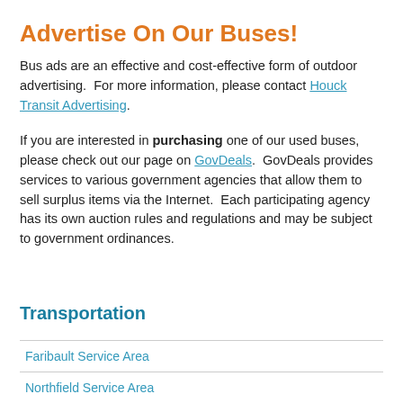Advertise On Our Buses!
Bus ads are an effective and cost-effective form of outdoor advertising.  For more information, please contact Houck Transit Advertising.
If you are interested in purchasing one of our used buses, please check out our page on GovDeals.  GovDeals provides services to various government agencies that allow them to sell surplus items via the Internet.  Each participating agency has its own auction rules and regulations and may be subject to government ordinances.
Transportation
Faribault Service Area
Northfield Service Area